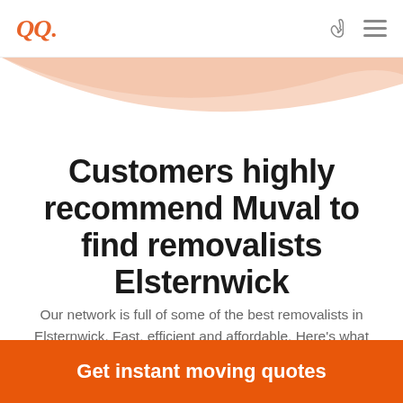Muval logo, phone icon, menu icon
[Figure (illustration): Decorative peach/salmon colored wave shape in the upper portion of the page]
Customers highly recommend Muval to find removalists Elsternwick
Our network is full of some of the best removalists in Elsternwick. Fast, efficient and affordable. Here's what customers of theirs say:
Get instant moving quotes